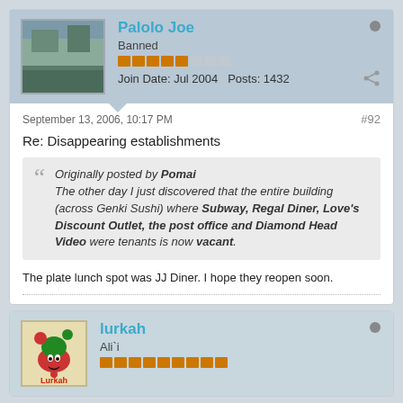Palolo Joe
Banned
Join Date: Jul 2004   Posts: 1432
September 13, 2006, 10:17 PM
#92
Re: Disappearing establishments
Originally posted by Pomai
The other day I just discovered that the entire building (across Genki Sushi) where Subway, Regal Diner, Love's Discount Outlet, the post office and Diamond Head Video were tenants is now vacant.
The plate lunch spot was JJ Diner. I hope they reopen soon.
lurkah
Ali`i